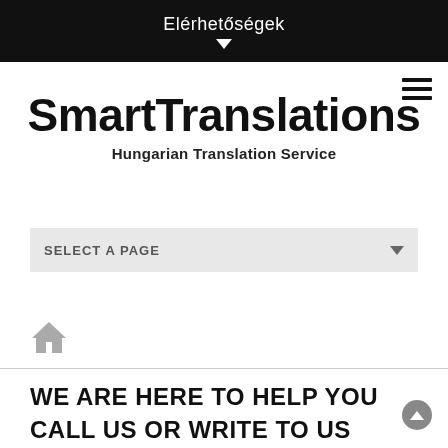Elérhetőségek
SmartTranslations
Hungarian Translation Service
SELECT A PAGE
[Figure (illustration): Home icon (house silhouette in gray)]
WE ARE HERE TO HELP YOU
CALL US OR WRITE TO US